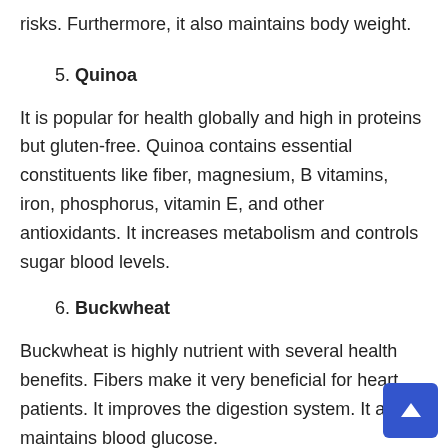risks. Furthermore, it also maintains body weight.
5. Quinoa
It is popular for health globally and high in proteins but gluten-free. Quinoa contains essential constituents like fiber, magnesium, B vitamins, iron, phosphorus, vitamin E, and other antioxidants. It increases metabolism and controls sugar blood levels.
6. Buckwheat
Buckwheat is highly nutrient with several health benefits. Fibers make it very beneficial for heart patients. It improves the digestion system. It also maintains blood glucose.